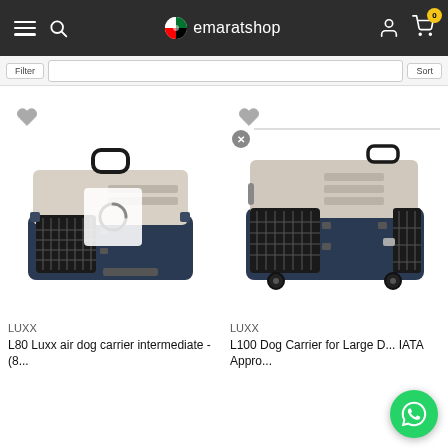emaratshop
[Figure (screenshot): Filter/sort bar with buttons]
[Figure (photo): LUXX L80 air dog carrier intermediate pet travel crate, beige and dark navy blue, with metal door grill]
[Figure (photo): LUXX L100 Dog Carrier for Large Dogs, IATA Approved, beige and dark navy blue with wheels]
LUXX
L80 Luxx air dog carrier intermediate - (8...
LUXX
L100 Dog Carrier for Large D... IATA Appro...